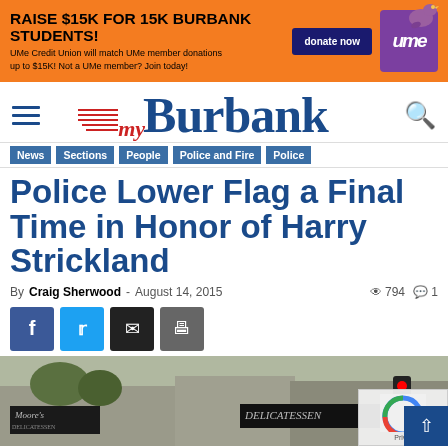[Figure (infographic): Orange banner advertisement: RAISE $15K FOR 15K BURBANK STUDENTS! UMe Credit Union will match UMe member donations up to $15K! Not a UMe member? Join today! with a donate now button and UMe logo with bird illustration.]
[Figure (logo): myBurbank news website logo with red speed lines before 'my' in italic serif and 'Burbank' in large blue bold serif font. Hamburger menu on left, search icon on right.]
News  Sections  People  Police and Fire  Police
Police Lower Flag a Final Time in Honor of Harry Strickland
By Craig Sherwood  -  August 14, 2015  |  794 views  |  1 comment
[Figure (screenshot): Social sharing buttons: Facebook (blue), Twitter (light blue), Email (black), Print (gray)]
[Figure (photo): Street-level photo showing Moore's Delicatessen storefront sign and other commercial buildings, with trees visible in background.]